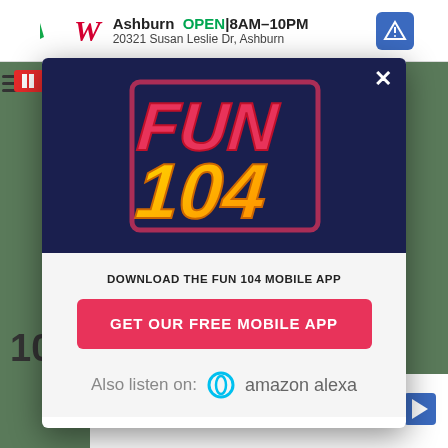[Figure (screenshot): Background with green/park scenery partially visible behind modal]
[Figure (logo): Walgreens advertisement bar at top: Ashburn OPEN 8AM-10PM, 20321 Susan Leslie Dr, Ashburn]
[Figure (logo): Fun 104 radio station logo - stylized text in pink/red and yellow on dark navy background]
DOWNLOAD THE FUN 104 MOBILE APP
GET OUR FREE MOBILE APP
Also listen on:  amazon alexa
[Figure (logo): Walgreens advertisement bar at bottom: Ashburn OPEN 8AM-10PM, 20321 Susan Leslie Dr, Ashburn]